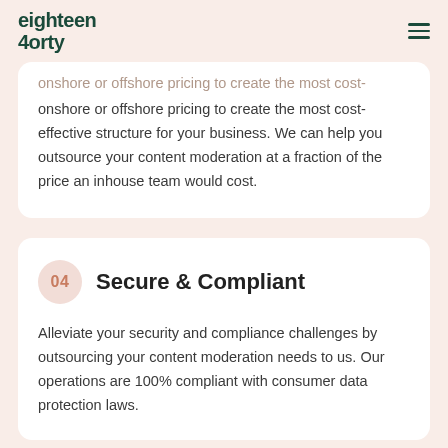eighteen 4orty
onshore or offshore pricing to create the most cost-effective structure for your business. We can help you outsource your content moderation at a fraction of the price an inhouse team would cost.
04  Secure & Compliant
Alleviate your security and compliance challenges by outsourcing your content moderation needs to us. Our operations are 100% compliant with consumer data protection laws.